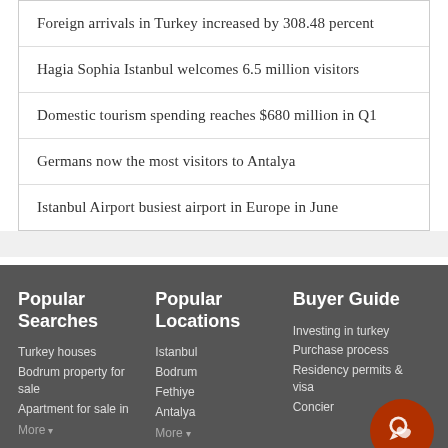Foreign arrivals in Turkey increased by 308.48 percent
Hagia Sophia Istanbul welcomes 6.5 million visitors
Domestic tourism spending reaches $680 million in Q1
Germans now the most visitors to Antalya
Istanbul Airport busiest airport in Europe in June
Popular Searches | Popular Locations | Buyer Guide | Turkey houses | Bodrum property for sale | Apartment for sale in | More | Istanbul | Bodrum | Fethiye | Antalya | More | Investing in turkey | Purchase process | Residency permits & visa | Concier... | About us | Useful Links